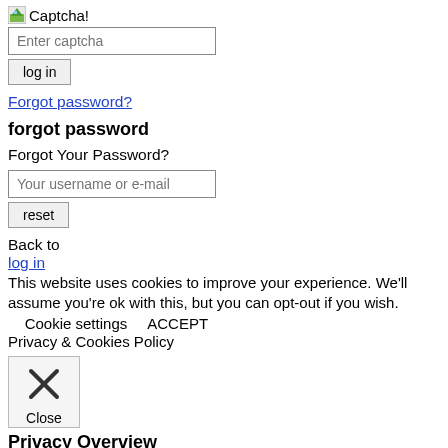[Figure (illustration): Small captcha image icon followed by text 'Captcha!']
[Figure (screenshot): Enter captcha input field]
[Figure (screenshot): log in button]
Forgot password?
forgot password
Forgot Your Password?
[Figure (screenshot): Your username or e-mail input field]
[Figure (screenshot): reset button]
Back to
log in
This website uses cookies to improve your experience. We'll assume you're ok with this, but you can opt-out if you wish.
Cookie settings      ACCEPT
Privacy & Cookies Policy
[Figure (screenshot): Close button with X icon and 'Close' label]
Privacy Overview